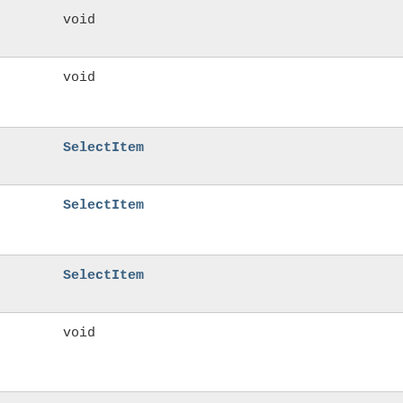void
void
SelectItem
SelectItem
SelectItem
void
void